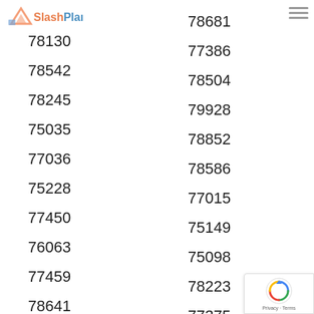[Figure (logo): SlashPlan logo with geometric icon]
78130
78542
78245
75035
77036
75228
77450
76063
77459
78641
75002
78681
77386
78504
79928
78852
78586
77015
75149
75098
78223
77375
77088